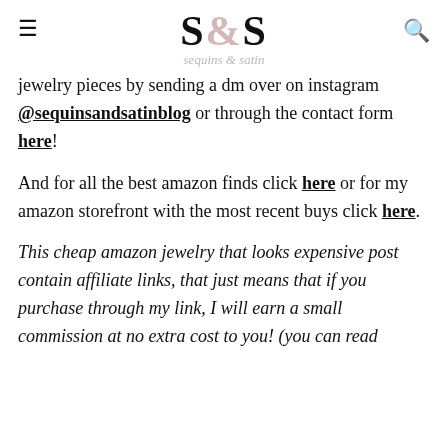S&S
jewelry pieces by sending a dm over on instagram @sequinsandsatinblog or through the contact form here!
And for all the best amazon finds click here or for my amazon storefront with the most recent buys click here.
This cheap amazon jewelry that looks expensive post contain affiliate links, that just means that if you purchase through my link, I will earn a small commission at no extra cost to you! (you can read